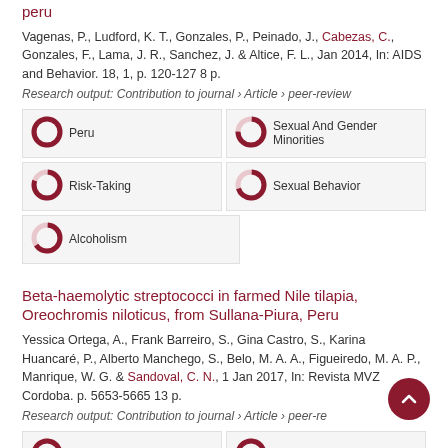peru
Vagenas, P., Ludford, K. T., Gonzales, P., Peinado, J., Cabezas, C., Gonzales, F., Lama, J. R., Sanchez, J. & Altice, F. L., Jan 2014, In: AIDS and Behavior. 18, 1, p. 120-127 8 p.
Research output: Contribution to journal › Article › peer-review
[Figure (donut-chart): Donut chart showing ~100% fill, labeled Peru]
[Figure (donut-chart): Donut chart showing ~75% fill, labeled Sexual And Gender Minorities]
[Figure (donut-chart): Donut chart showing ~80% fill, labeled Risk-Taking]
[Figure (donut-chart): Donut chart showing ~70% fill, labeled Sexual Behavior]
[Figure (donut-chart): Donut chart showing ~65% fill, labeled Alcoholism]
Beta-haemolytic streptococci in farmed Nile tilapia, Oreochromis niloticus, from Sullana-Piura, Peru
Yessica Ortega, A., Frank Barreiro, S., Gina Castro, S., Karina Huancaré, P., Alberto Manchego, S., Belo, M. A. A., Figueiredo, M. A. P., Manrique, W. G. & Sandoval, C. N., 1 Jan 2017, In: Revista MVZ Cordoba. p. 5653-5665 13 p.
Research output: Contribution to journal › Article › peer-review
[Figure (donut-chart): Donut chart showing ~100% fill, labeled Cichlids]
[Figure (donut-chart): Donut chart showing ~100% fill, labeled Tilapia]